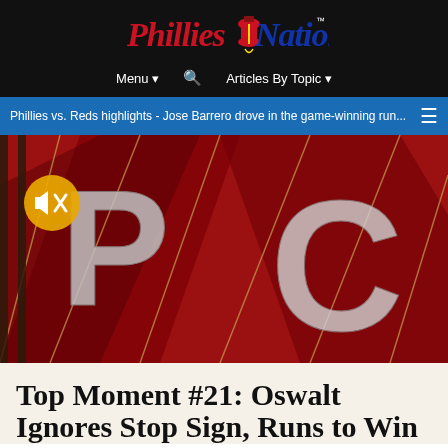Phillies Nation
Menu ▾   🔍   Articles By Topic ▾
Phillies vs. Reds highlights - Jose Barrero drove in the game-winning run...
[Figure (photo): Red baseball background with 'P' Phillies logo and 'C' Reds logo visible through fence/netting overlay, muted speaker icon in top-left corner]
Top Moment #21: Oswalt Ignores Stop Sign, Runs to Win